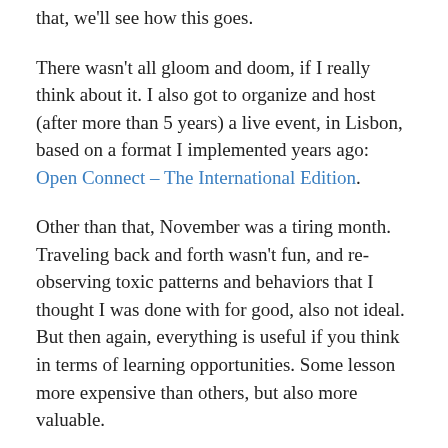that, we'll see how this goes.
There wasn't all gloom and doom, if I really think about it. I also got to organize and host (after more than 5 years) a live event, in Lisbon, based on a format I implemented years ago: Open Connect – The International Edition.
Other than that, November was a tiring month. Traveling back and forth wasn't fun, and re-observing toxic patterns and behaviors that I thought I was done with for good, also not ideal. But then again, everything is useful if you think in terms of learning opportunities. Some lesson more expensive than others, but also more valuable.
In terms of writing, it was probably the most